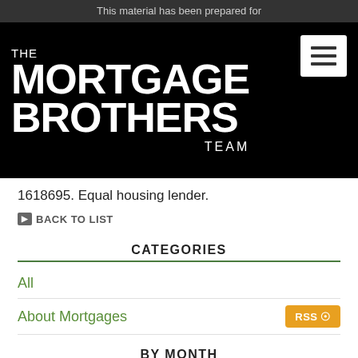This material has been prepared for
[Figure (logo): The Mortgage Brothers Team logo — white bold text on black background with hamburger menu button]
1618695. Equal housing lender.
BACK TO LIST
CATEGORIES
All
About Mortgages
BY MONTH
August 2022
July 2022